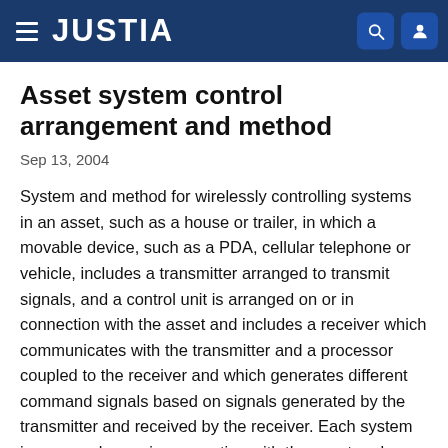JUSTIA
Asset system control arrangement and method
Sep 13, 2004
System and method for wirelessly controlling systems in an asset, such as a house or trailer, in which a movable device, such as a PDA, cellular telephone or vehicle, includes a transmitter arranged to transmit signals, and a control unit is arranged on or in connection with the asset and includes a receiver which communicates with the transmitter and a processor coupled to the receiver and which generates different command signals based on signals generated by the transmitter and received by the receiver. Each system is arranged on or in connection with the asset and coupled to the control